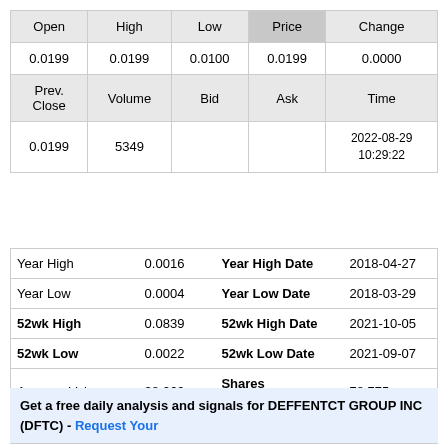| Open | High | Low | Price | Change |
| --- | --- | --- | --- | --- |
| 0.0199 | 0.0199 | 0.0100 | 0.0199 | 0.0000 |
| Prev. Close | Volume | Bid | Ask | Time |
| 0.0199 | 5349 |  |  | 2022-08-29 10:29:22 |
| Year High | 0.0016 | Year High Date | 2018-04-27 |
| Year Low | 0.0004 | Year Low Date | 2018-03-29 |
| 52wk High | 0.0839 | 52wk High Date | 2021-10-05 |
| 52wk Low | 0.0022 | 52wk Low Date | 2021-09-07 |
| Average Volume | 28,069 | Shares Outstanding | 78,775 |
| Volatility | 343.59 |  |  |
Get a free daily analysis and signals for DEFFENTCT GROUP INC (DFTC) - Request Your